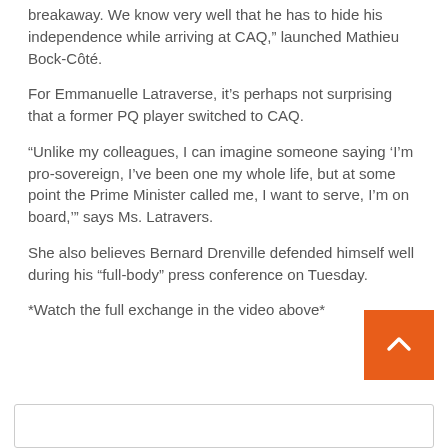breakaway. We know very well that he has to hide his independence while arriving at CAQ,” launched Mathieu Bock-Côté.
For Emmanuelle Latraverse, it’s perhaps not surprising that a former PQ player switched to CAQ.
“Unlike my colleagues, I can imagine someone saying ‘I’m pro-sovereign, I’ve been one my whole life, but at some point the Prime Minister called me, I want to serve, I’m on board,’” says Ms. Latravers.
She also believes Bernard Drenville defended himself well during his “full-body” press conference on Tuesday.
*Watch the full exchange in the video above*